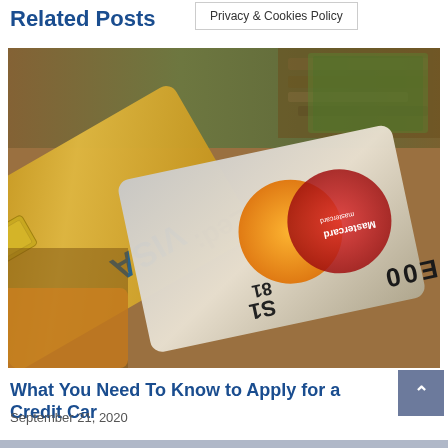Related Posts
Privacy & Cookies Policy
[Figure (photo): Close-up photo of credit cards fanned out, including a gold Visa card labeled 'Led:' and a Mastercard with 'TE00' visible, along with currency notes in the background.]
What You Need To Know to Apply for a Credit Card
September 21, 2020